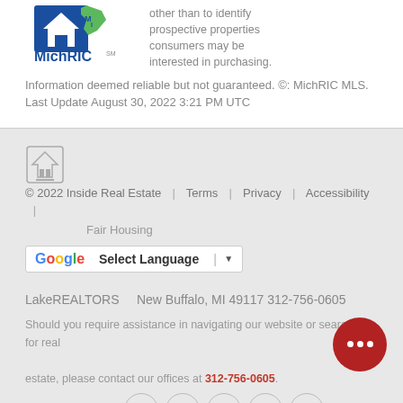[Figure (logo): MichRIC MLS logo with blue house icon and green Michigan state shape, text reads MichRIC with SM mark]
other than to identify prospective properties consumers may be interested in purchasing. Information deemed reliable but not guaranteed. ©: MichRIC MLS. Last Update August 30, 2022 3:21 PM UTC
© 2022 Inside Real Estate | Terms | Privacy | Accessibility | Fair Housing
[Figure (other): Google Translate Select Language widget with G logo and dropdown arrow]
LakeREALTORS    New Buffalo, MI 49117 312-756-0605
Should you require assistance in navigating our website or searching for real estate, please contact our offices at 312-756-0605.
[Figure (other): Social media icons: Google+, YouTube, Pinterest, Facebook, and back-to-top arrow button. Red chat bubble with ellipsis overlay.]